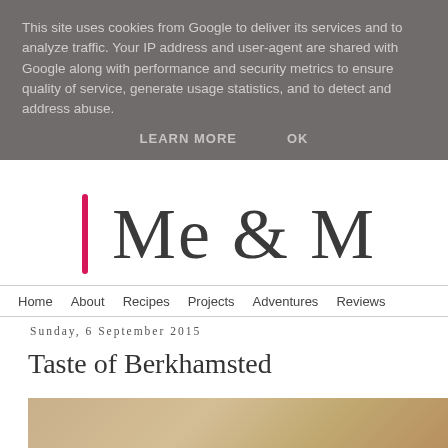This site uses cookies from Google to deliver its services and to analyze traffic. Your IP address and user-agent are shared with Google along with performance and security metrics to ensure quality of service, generate usage statistics, and to detect and address abuse.
LEARN MORE   OK
[Figure (logo): Blog logo with pink vertical bar and large serif text 'Me & M' partially visible]
Home   About   Recipes   Projects   Adventures   Reviews
Sunday, 6 September 2015
Taste of Berkhamsted
[Figure (photo): Photo of food items partially visible at the bottom of the page]